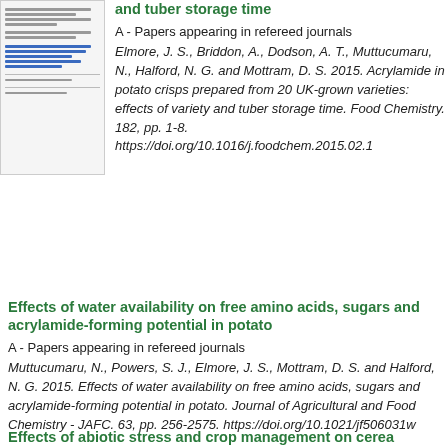[Figure (screenshot): Thumbnail of a document page showing text lines and blue underlined links]
and tuber storage time
A - Papers appearing in refereed journals
Elmore, J. S., Briddon, A., Dodson, A. T., Muttucumaru, N., Halford, N. G. and Mottram, D. S. 2015. Acrylamide in potato crisps prepared from 20 UK-grown varieties: effects of variety and tuber storage time. Food Chemistry. 182, pp. 1-8. https://doi.org/10.1016/j.foodchem.2015.02.1
Effects of water availability on free amino acids, sugars and acrylamide-forming potential in potato
A - Papers appearing in refereed journals
Muttucumaru, N., Powers, S. J., Elmore, J. S., Mottram, D. S. and Halford, N. G. 2015. Effects of water availability on free amino acids, sugars and acrylamide-forming potential in potato. Journal of Agricultural and Food Chemistry - JAFC. 63, pp. 2565-2575. https://doi.org/10.1021/jf506031w
Effects of abiotic stress and crop management on cerea